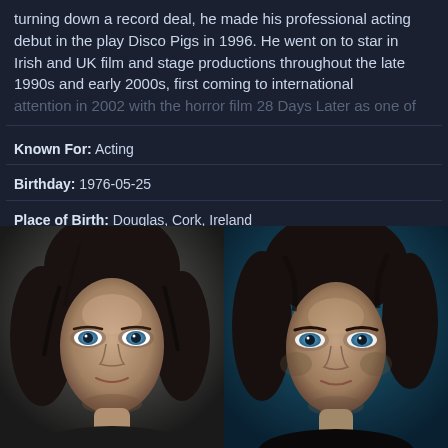turning down a record deal, he made his professional acting debut in the play Disco Pigs in 1996. He went on to star in Irish and UK film and stage productions throughout the late 1990s and early 2000s, first coming to international [attention in 2002 with the horror film...]
Known For: Acting
Birthday: 1976-05-25
Place of Birth: Douglas, Cork, Ireland
Also Known As: Киллиан Мерфи, كيليان مورفي, キリアン・マーフィー, 킬리언 머피, 기리안 마피, كيليان مورفي, 킬리언
[Figure (photo): Two side-by-side portrait photos of Cillian Murphy — left photo shows him younger with dark hair and blue eyes against a grey background; right photo shows him older against a dark teal background.]